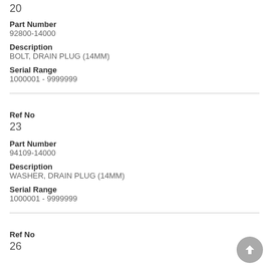20
Part Number
92800-14000
Description
BOLT, DRAIN PLUG (14MM)
Serial Range
1000001 - 9999999
Ref No
23
Part Number
94109-14000
Description
WASHER, DRAIN PLUG (14MM)
Serial Range
1000001 - 9999999
Ref No
26